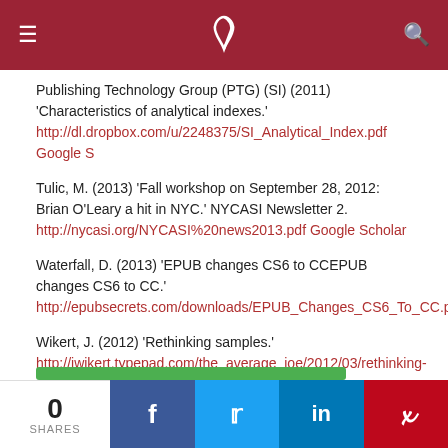≡  )  🔍
Publishing Technology Group (PTG) (SI) (2011) 'Characteristics of analytical indexes.' http://dl.dropbox.com/u/2248375/SI_Analytical_Index.pdf Google S
Tulic, M. (2013) 'Fall workshop on September 28, 2012: Brian O'Leary a hit in NYC.' NYCASI Newsletter 2. http://nycasi.org/NYCASI%20news2013.pdf Google Scholar
Waterfall, D. (2013) 'EPUB changes CS6 to CCEPUB changes CS6 to CC.' http://epubsecrets.com/downloads/EPUB_Changes_CS6_To_CC.pd
Wikert, J. (2012) 'Rethinking samples.' http://jwikert.typepad.com/the_average_joe/2012/03/rethinking-samples.html Google Scholar
Wright, J. (2012) 'The devil is in the details: indexes versus Amazon's X-Ray.' The Indexer 30(1),11–16. The devil is in the details: indexes versus A X-Ray. The Indexer 30.11
0 SHARES  f  t  in  p